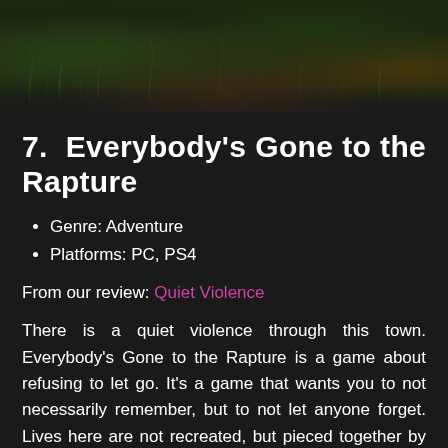[Figure (photo): Dark atmospheric game screenshot showing grass and vegetation in a dimly lit scene, part of Everybody's Gone to the Rapture game imagery]
7. Everybody's Gone to the Rapture
Genre: Adventure
Platforms: PC, PS4
From our review: Quiet Violence
There is a quiet violence through this town. Everybody's Gone to the Rapture is a game about refusing to let go. It's a game that wants you to not necessarily remember, but to not let anyone forget. Lives here are not recreated, but pieced together by fragments – literally ghosts made of mysterious light.